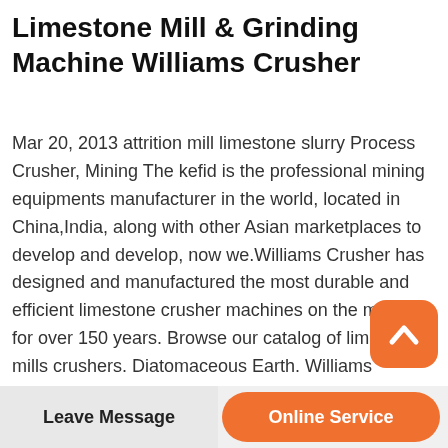Limestone Mill & Grinding Machine Williams Crusher
Mar 20, 2013 attrition mill limestone slurry Process Crusher, Mining The kefid is the professional mining equipments manufacturer in the world, located in China,India, along with other Asian marketplaces to develop and develop, now we.Williams Crusher has designed and manufactured the most durable and efficient limestone crusher machines on the market for over 150 years. Browse our catalog of limestone mills crushers. Diatomaceous Earth. Williams Crusher manufactures innovative D.E. mills for grinding, drying, and classifying material to a powdery, dust-like form.
[Figure (other): Orange rounded square back-to-top button with upward chevron icon]
Leave Message
Online Service